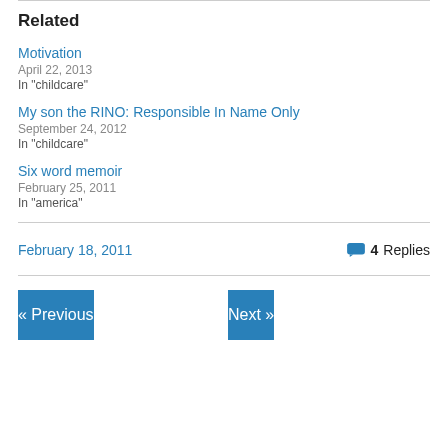Related
Motivation
April 22, 2013
In "childcare"
My son the RINO: Responsible In Name Only
September 24, 2012
In "childcare"
Six word memoir
February 25, 2011
In "america"
February 18, 2011
4 Replies
« Previous
Next »